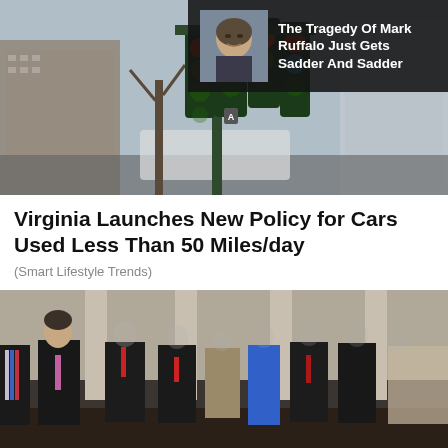[Figure (photo): Street photo showing multiple traffic lights on a single pole, city buildings in background, overcast day]
[Figure (photo): Ad thumbnail showing Mark Ruffalo headshot in top-left corner of traffic light photo, with dark overlay text banner]
The Tragedy Of Mark Ruffalo Just Gets Sadder And Sadder
Virginia Launches New Policy for Cars Used Less Than 50 Miles/day
(Smart Lifestyle Trends)
[Figure (photo): Group photo of people standing in CIA headquarters lobby with the CIA seal on the floor. One person on left is circled in red. Other faces are blurred out.]